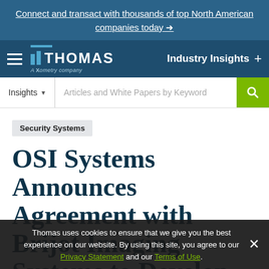Connect and transact with thousands of top North American companies today →
[Figure (logo): Thomas - A Xometry Company logo with hamburger menu and Industry Insights navigation]
Insights ▾  Articles and White Papers by Keyword [search button]
Security Systems
OSI Systems Announces Agreement with Brijot Imaging Systems to Develop and Distribute
Thomas uses cookies to ensure that we give you the best experience on our website. By using this site, you agree to our Privacy Statement and our Terms of Use.